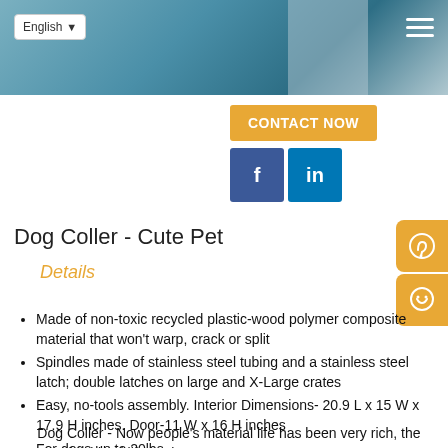[Figure (screenshot): Website header banner with blue/teal gradient background, English language selector dropdown in top-left, hamburger menu icon in top-right]
CONTACT NOW
[Figure (infographic): Social media buttons: Facebook (blue, f) and LinkedIn (teal, in)]
[Figure (infographic): Side contact icons: phone and chat emoji on orange background]
Dog Coller - Cute Pet
Details
Made of non-toxic recycled plastic-wood polymer composite material that won't warp, crack or split
Spindles made of stainless steel tubing and a stainless steel latch; double latches on large and X-Large crates
Easy, no-tools assembly. Interior Dimensions- 20.9 L x 15 W x 17.9 H inches. Door-11 W x 16 H inches
For dogs up to 20lbs
Inspiring your pet style
Dog Coller - Now people's material life has been very rich, the pursuit of spiritual life is also